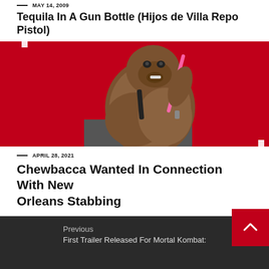MAY 14, 2009
Tequila In A Gun Bottle (Hijos de Villa Repo Pistol)
[Figure (photo): Person wearing a Chewbacca costume holding a pink lightsaber, standing against a red background on a street]
APRIL 28, 2021
Chewbacca Wanted In Connection With New Orleans Stabbing
Previous
First Trailer Released For Mortal Kombat: